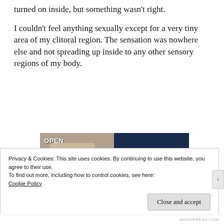turned on inside, but something wasn't right.
I couldn't feel anything sexually except for a very tiny area of my clitoral region. The sensation was nowhere else and not spreading up inside to any other sensory regions of my body.
[Figure (photo): Advertisement banner showing a hand holding an 'OPEN' sign on the left half (photo), and the text 'THAT MEANS BUSINESS.' in bold white text on a dark navy blue background on the right half.]
Privacy & Cookies: This site uses cookies. By continuing to use this website, you agree to their use.
To find out more, including how to control cookies, see here: Cookie Policy
Close and accept